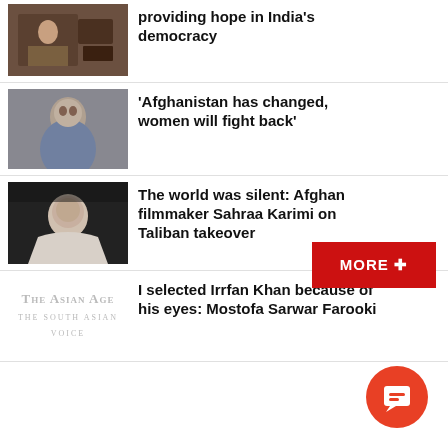[Figure (photo): Person at desk, likely India democracy related article thumbnail]
providing hope in India's democracy
[Figure (photo): Woman with curly hair, Afghanistan women article thumbnail]
‘Afghanistan has changed, women will fight back’
[Figure (photo): Woman with head covering, Afghan filmmaker article thumbnail]
The world was silent: Afghan filmmaker Sahraa Karimi on Taliban takeover
[Figure (logo): The Asian Age newspaper logo]
I selected Irrfan Khan because of his eyes: Mostofa Sarwar Farooki
MORE +